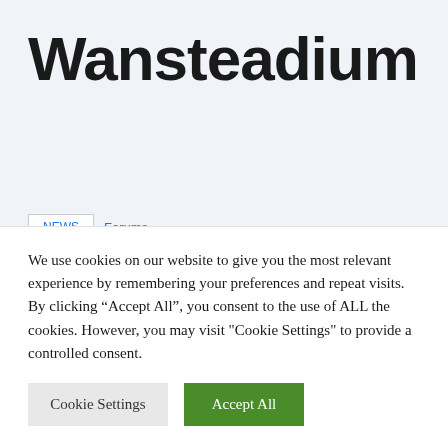Wansteadium
We use cookies on our website to give you the most relevant experience by remembering your preferences and repeat visits. By clicking “Accept All”, you consent to the use of ALL the cookies. However, you may visit "Cookie Settings" to provide a controlled consent.
Cookie Settings | Accept All